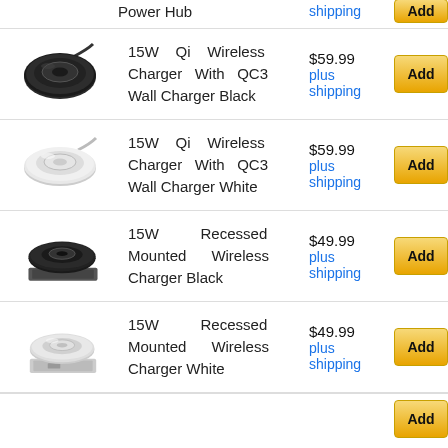Power Hub  shipping
[Figure (photo): 15W Qi Wireless Charger with QC3 Wall Charger Black - round black wireless charging pad]
15W Qi Wireless Charger With QC3 Wall Charger Black  $59.99 plus shipping
[Figure (photo): 15W Qi Wireless Charger with QC3 Wall Charger White - round white wireless charging pad]
15W Qi Wireless Charger With QC3 Wall Charger White  $59.99 plus shipping
[Figure (photo): 15W Recessed Mounted Wireless Charger Black - black recessed charger]
15W Recessed Mounted Wireless Charger Black  $49.99 plus shipping
[Figure (photo): 15W Recessed Mounted Wireless Charger White - white recessed charger]
15W Recessed Mounted Wireless Charger White  $49.99 plus shipping